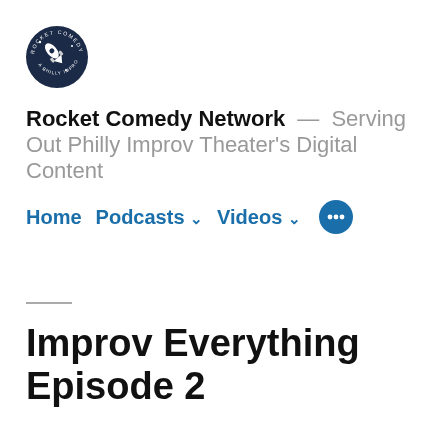[Figure (logo): Rocket Comedy Network circular logo with dark navy background, rocket ship and stars, text around the border reading ROCKET COMEDY]
Rocket Comedy Network — Serving Out Philly Improv Theater's Digital Content
Home  Podcasts ∨  Videos ∨  •••
Improv Everything Episode 2